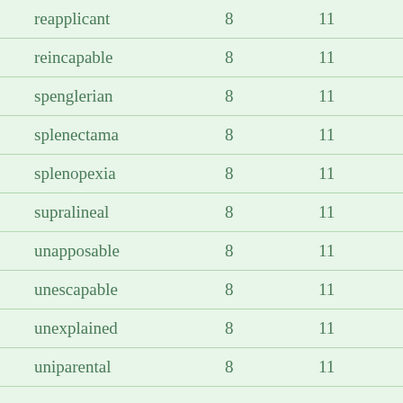| reapplicant | 8 | 11 |
| reincapable | 8 | 11 |
| spenglerian | 8 | 11 |
| splenectama | 8 | 11 |
| splenopexia | 8 | 11 |
| supralineal | 8 | 11 |
| unapposable | 8 | 11 |
| unescapable | 8 | 11 |
| unexplained | 8 | 11 |
| uniparental | 8 | 11 |